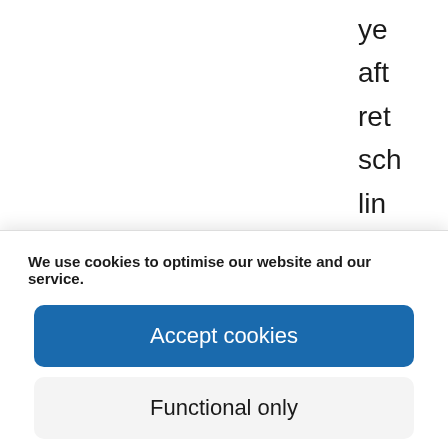ye
aft
ret
sch
lin
Re
We use cookies to optimise our website and our service.
Accept cookies
Functional only
View preferences
Cookie Policy